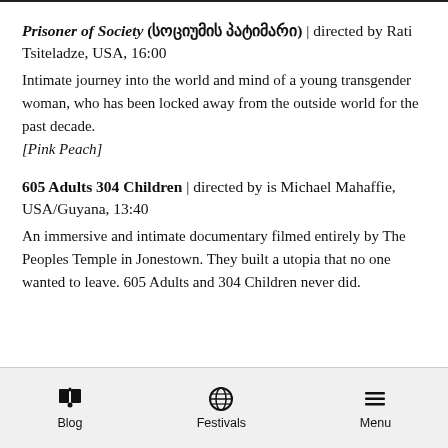Prisoner of Society (სოციუმის პატიმარი) | directed by Rati Tsiteladze, USA, 16:00
Intimate journey into the world and mind of a young transgender woman, who has been locked away from the outside world for the past decade.
[Pink Peach]
605 Adults 304 Children | directed by is Michael Mahaffie, USA/Guyana, 13:40
An immersive and intimate documentary filmed entirely by The Peoples Temple in Jonestown. They built a utopia that no one wanted to leave. 605 Adults and 304 Children never did.
Blog | Festivals | Menu